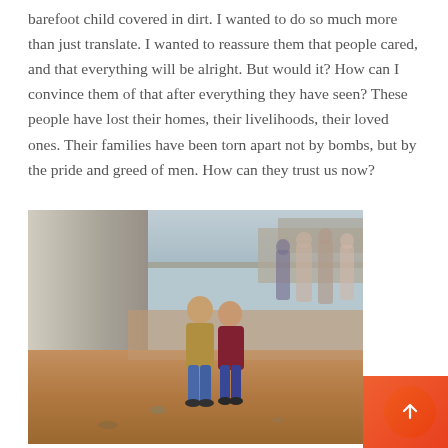barefoot child covered in dirt. I wanted to do so much more than just translate. I wanted to reassure them that people cared, and that everything will be alright. But would it? How can I convince them of that after everything they have seen? These people have lost their homes, their livelihoods, their loved ones. Their families have been torn apart not by bombs, but by the pride and greed of men. How can they trust us now?
[Figure (photo): Two children standing in a dusty refugee camp with tarp tents visible in the background and other people walking around. The children appear to be posing for the photo amidst difficult conditions.]